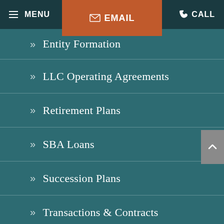MENU | EMAIL | CALL
» Entity Formation
» LLC Operating Agreements
» Retirement Plans
» SBA Loans
» Succession Plans
» Transactions & Contracts
» Real Estate